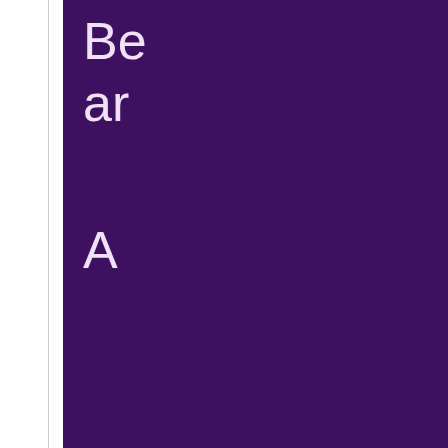[Figure (illustration): Purple background panel with light text fragments 'Be', 'ar', 'A' visible and a partial figure at the bottom right corner]
Shipping Upd
Regarding COVID-19 and shipping rules apply: Orde Orders received after 10:0
We are taking all recomme are working remotely, our